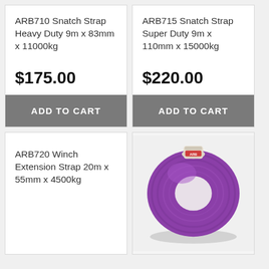ARB710 Snatch Strap Heavy Duty 9m x 83mm x 11000kg
$175.00
ADD TO CART
ARB715 Snatch Strap Super Duty 9m x 110mm x 15000kg
$220.00
ADD TO CART
ARB720 Winch Extension Strap 20m x 55mm x 4500kg
[Figure (photo): Purple ARB recovery strap coiled in a circular roll, with white strap ends visible, sitting on white background]